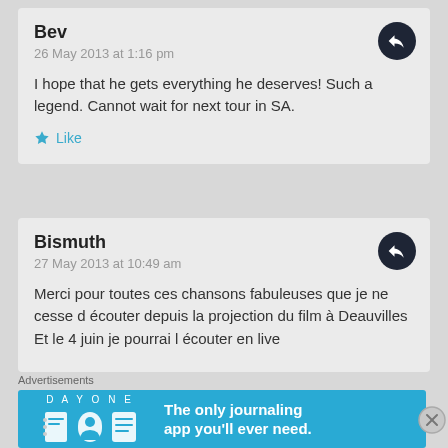Bev
26 May 2013 at 1:16 pm
I hope that he gets everything he deserves! Such a legend. Cannot wait for next tour in SA.
Like
Bismuth
27 May 2013 at 10:49 am
Merci pour toutes ces chansons fabuleuses que je ne cesse d écouter depuis la projection du film à Deauvilles
Et le 4 juin je pourrai l écouter en live
Advertisements
[Figure (illustration): Day One journaling app advertisement banner with blue background showing app icons and tagline 'The only journaling app you'll ever need.']